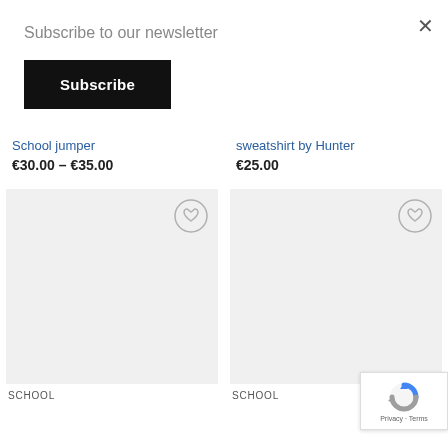Subscribe to our newsletter
Subscribe
School jumper
€30.00 – €35.00
sweatshirt by Hunter
€25.00
[Figure (other): Product card image placeholder (grey rectangle) with heart/wishlist icon button in top right corner]
SCHOOL
[Figure (other): Product card image placeholder (grey rectangle) with heart/wishlist icon button in top right corner]
SCHOOL
[Figure (logo): Google reCAPTCHA badge with logo and Privacy - Terms text]